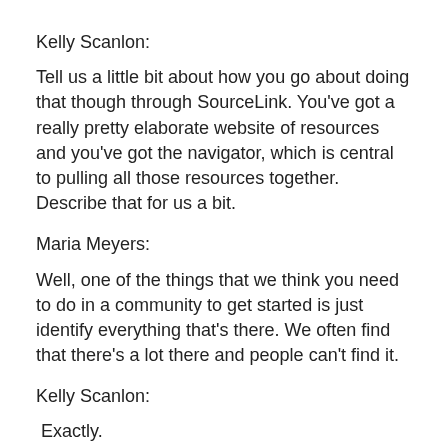Kelly Scanlon:
Tell us a little bit about how you go about doing that though through SourceLink. You've got a really pretty elaborate website of resources and you've got the navigator, which is central to pulling all those resources together. Describe that for us a bit.
Maria Meyers:
Well, one of the things that we think you need to do in a community to get started is just identify everything that's there. We often find that there's a lot there and people can't find it.
Kelly Scanlon:
Exactly.
Maria Meyers: